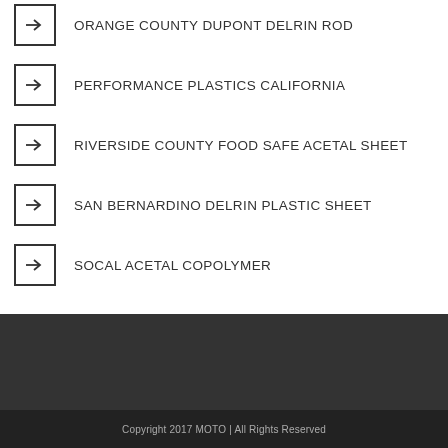ORANGE COUNTY DUPONT DELRIN ROD
PERFORMANCE PLASTICS CALIFORNIA
RIVERSIDE COUNTY FOOD SAFE ACETAL SHEET
SAN BERNARDINO DELRIN PLASTIC SHEET
SOCAL ACETAL COPOLYMER
Copyright 2017 MOTO | All Rights Reserved